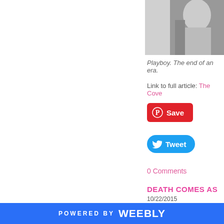[Figure (photo): Black and white cropped photo, partial view of a person]
Playboy. The end of an era.
Link to full article: The Cove...
[Figure (other): Pinterest Save button (red rounded rectangle with P icon)]
[Figure (other): Twitter Tweet button (blue pill shape with bird icon)]
0 Comments
DEATH COMES AS...
10/22/2015
[Figure (photo): Photo of a building exterior with warm orange/brown tones, windows visible]
POWERED BY weebly